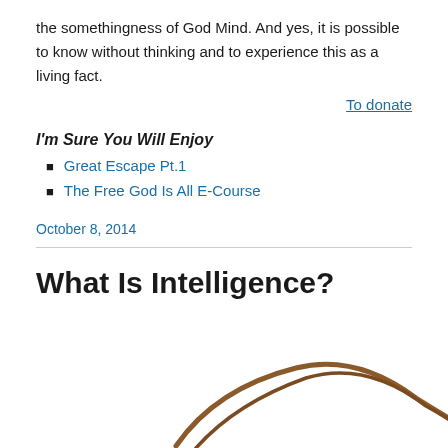the somethingness of God Mind. And yes, it is possible to know without thinking and to experience this as a living fact.
To donate
I'm Sure You Will Enjoy
Great Escape Pt.1
The Free God Is All E-Course
October 8, 2014
What Is Intelligence?
[Figure (illustration): Partial illustration showing curved brown lines resembling a head or hair outline against white background]